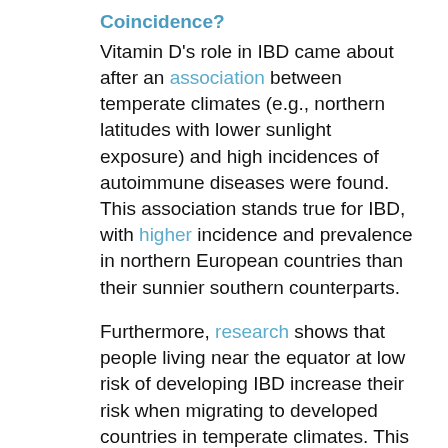Coincidence?
Vitamin D's role in IBD came about after an association between temperate climates (e.g., northern latitudes with lower sunlight exposure) and high incidences of autoimmune diseases were found. This association stands true for IBD, with higher incidence and prevalence in northern European countries than their sunnier southern counterparts.
Furthermore, research shows that people living near the equator at low risk of developing IBD increase their risk when migrating to developed countries in temperate climates. This well-known north-south gradient of IBD prevalence suggests that vitamin